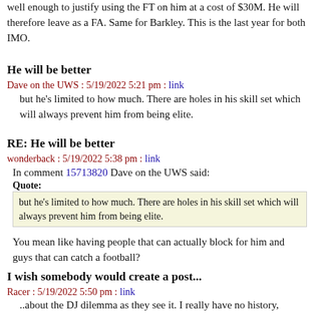well enough to justify using the FT on him at a cost of $30M. He will therefore leave as a FA. Same for Barkley. This is the last year for both IMO.
He will be better
Dave on the UWS : 5/19/2022 5:21 pm : link
but he's limited to how much. There are holes in his skill set which will always prevent him from being elite.
RE: He will be better
wonderback : 5/19/2022 5:38 pm : link
In comment 15713820 Dave on the UWS said:
Quote:
but he's limited to how much. There are holes in his skill set which will always prevent him from being elite.
You mean like having people that can actually block for him and guys that can catch a football?
I wish somebody would create a post...
Racer : 5/19/2022 5:50 pm : link
..about the DJ dilemma as they see it. I really have no history, opinions, or data upon which to base my own conclusions.